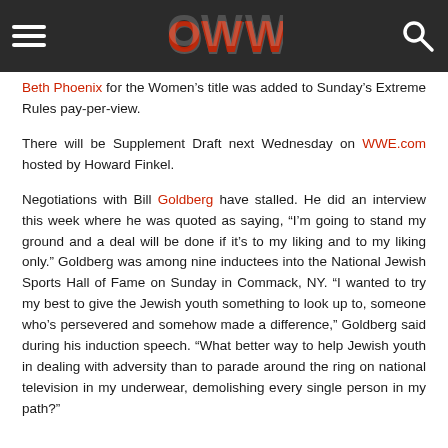OWW logo header with hamburger menu and search icon
Beth Phoenix for the Women's title was added to Sunday's Extreme Rules pay-per-view.
There will be Supplement Draft next Wednesday on WWE.com hosted by Howard Finkel.
Negotiations with Bill Goldberg have stalled. He did an interview this week where he was quoted as saying, “I’m going to stand my ground and a deal will be done if it’s to my liking and to my liking only.” Goldberg was among nine inductees into the National Jewish Sports Hall of Fame on Sunday in Commack, NY. “I wanted to try my best to give the Jewish youth something to look up to, someone who’s persevered and somehow made a difference,” Goldberg said during his induction speech. “What better way to help Jewish youth in dealing with adversity than to parade around the ring on national television in my underwear, demolishing every single person in my path?”